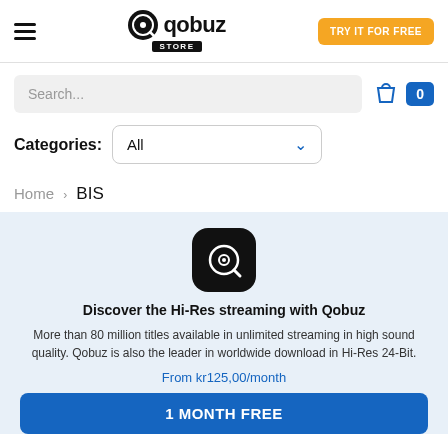[Figure (logo): Qobuz Store logo with hamburger menu and Try It For Free button]
Search...
Categories: All
Home > BIS
[Figure (logo): Qobuz app icon - black rounded square with vinyl record and magnifying glass]
Discover the Hi-Res streaming with Qobuz
More than 80 million titles available in unlimited streaming in high sound quality. Qobuz is also the leader in worldwide download in Hi-Res 24-Bit.
From kr125,00/month
1 MONTH FREE